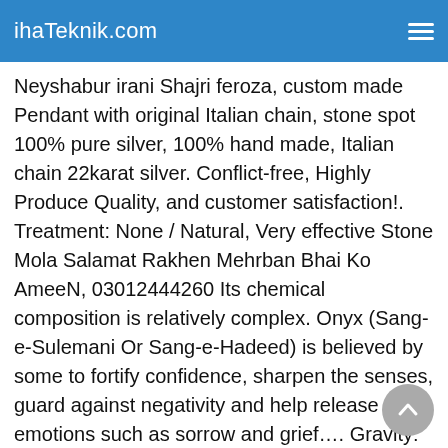ihaTeknik.com
Neyshabur irani Shajri feroza, custom made Pendant with original Italian chain, stone spot 100% pure silver, 100% hand made, Italian chain 22karat silver. Conflict-free, Highly Produce Quality, and customer satisfaction!. Treatment: None / Natural, Very effective Stone Mola Salamat Rakhen Mehrban Bhai Ko AmeeN, 03012444260 Its chemical composition is relatively complex. Onyx (Sang-e-Sulemani Or Sang-e-Hadeed) is believed by some to fortify confidence, sharpen the senses, guard against negativity and help release emotions such as sorrow and grief…. Gravity: 3.13 – 3.25 Sang e Hadeed e Chini. Yellow Aqeeq is a very extraordinary and spiritual stone. As Besides the stone being the first stone to affirm the existence of Allah, the